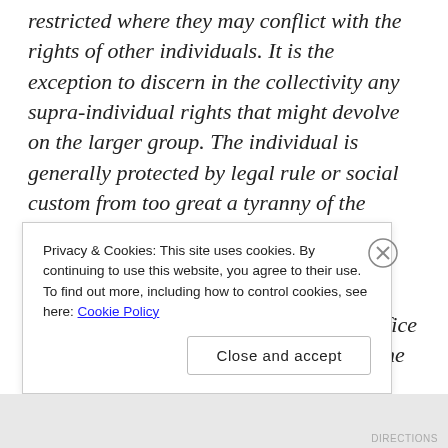restricted where they may conflict with the rights of other individuals. It is the exception to discern in the collectivity any supra-individual rights that might devolve on the larger group. The individual is generally protected by legal rule or social custom from too great a tyranny of the group.

“In a corporation, the group comes first and the individuals are expected to sacrifice their own needs for the greater good of the group. The personal status of individual members is defined by the group and not more than incidentally by individual achievement. Individual...
Privacy & Cookies: This site uses cookies. By continuing to use this website, you agree to their use.
To find out more, including how to control cookies, see here: Cookie Policy
Close and accept
DIRECTIONS